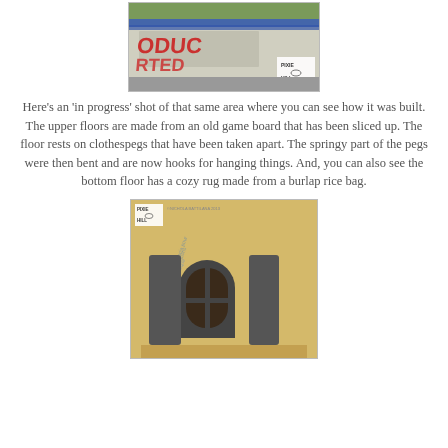[Figure (photo): Partial photo showing an old board or fabric with blue and red lettering (partially visible text: 'ODUC', 'RTED', and similar), with a small 'Pixie Hill' watermark logo in the bottom right corner. Plant/grass visible at the top.]
Here's an 'in progress' shot of that same area where you can see how it was built. The upper floors are made from an old game board that has been sliced up. The floor rests on clothespegs that have been taken apart. The springy part of the pegs were then bent and are now hooks for hanging things. And, you can also see the bottom floor has a cozy rug made from a burlap rice bag.
[Figure (photo): Photo showing a miniature scene built from a cardboard/burlap rice bag background (text visible on it), with dark grey/painted miniature furniture pieces including what appears to be a arched window frame and a door, set against a yellow/golden background. Small 'Pixie Hill' watermark logo in the top left corner.]